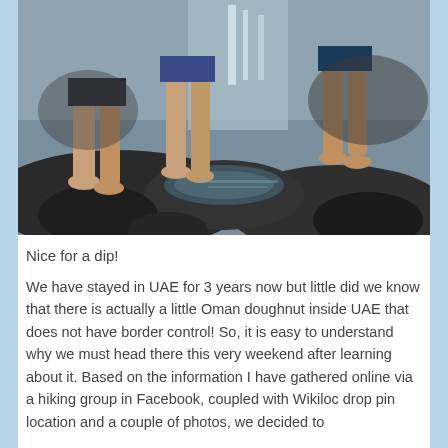[Figure (photo): Photo of people standing barefoot on dark rocks near a waterfall and stream, wearing shorts. Three or four people visible from waist down, with water and rocky terrain in background.]
Nice for a dip!
We have stayed in UAE for 3 years now but little did we know that there is actually a little Oman doughnut inside UAE that does not have border control! So, it is easy to understand why we must head there this very weekend after learning about it. Based on the information I have gathered online via a hiking group in Facebook, coupled with Wikiloc drop pin location and a couple of photos, we decided to